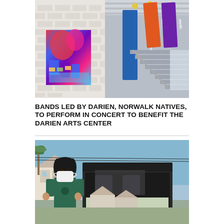[Figure (photo): Interior of Darien Arts Center showing a colorful painting on a white brick wall, metal staircase, and hanging banners reading 'dance', 'music', and 'Darien Arts Center' in blue, orange, and purple]
BANDS LED BY DARIEN, NORWALK NATIVES, TO PERFORM IN CONCERT TO BENEFIT THE DARIEN ARTS CENTER
[Figure (photo): Person wearing a green shirt and white face mask standing at the back of an open SUV/van in a suburban neighborhood on a sunny day]